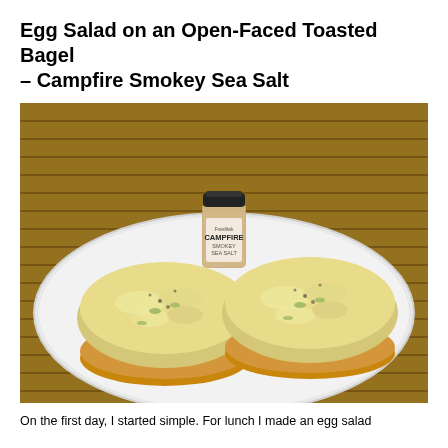Egg Salad on an Open-Faced Toasted Bagel – Campfire Smokey Sea Salt
[Figure (photo): A white plate with two open-faced toasted bagel halves topped with egg salad and sprinkled with seasoning. A small spice jar labeled 'Freshlek CAMPFIRE SMOKEY SEA SALT' is placed between the two bagel halves. The plate sits on a woven bamboo mat background.]
On the first day, I started simple. For lunch I made an egg salad